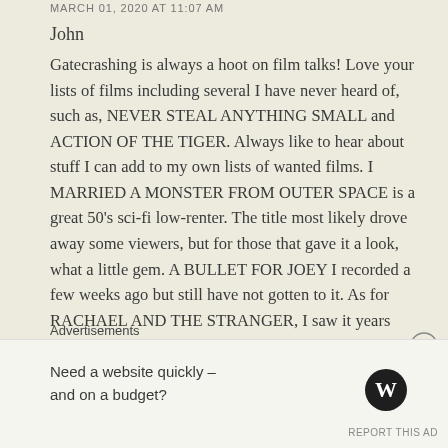MARCH 01, 2020 AT 11:07 AM
John
Gatecrashing is always a hoot on film talks! Love your lists of films including several I have never heard of, such as, NEVER STEAL ANYTHING SMALL and ACTION OF THE TIGER. Always like to hear about stuff I can add to my own lists of wanted films. I MARRIED A MONSTER FROM OUTER SPACE is a great 50's sci-fi low-renter. The title most likely drove away some viewers, but for those that gave it a look, what a little gem. A BULLET FOR JOEY I recorded a few weeks ago but still have not gotten to it. As for RACHAEL AND THE STRANGER, I saw it years
Advertisements
Need a website quickly – and on a budget?